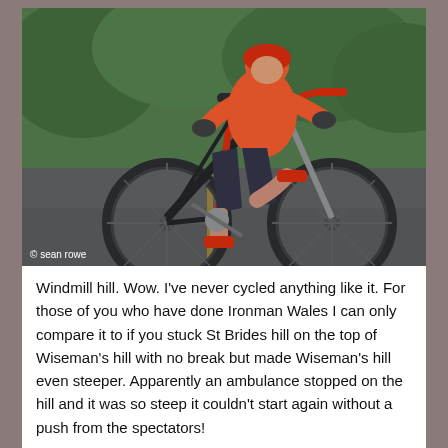[Figure (photo): A cyclist wearing an orange long-sleeve jersey and dark shorts riding a black and red road bike on a wet road. Green trees visible in the background. Photo credit: © sean rowe]
© sean rowe
Windmill hill. Wow. I've never cycled anything like it. For those of you who have done Ironman Wales I can only compare it to if you stuck St Brides hill on the top of Wiseman's hill with no break but made Wiseman's hill even steeper. Apparently an ambulance stopped on the hill and it was so steep it couldn't start again without a push from the spectators!